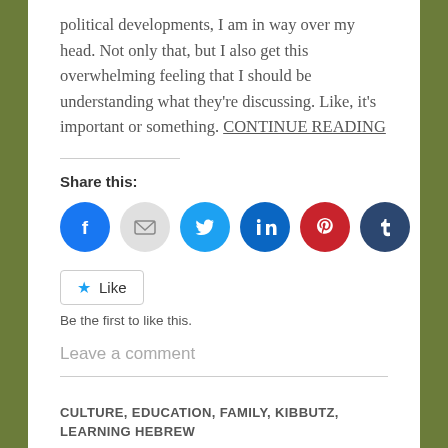political developments, I am in way over my head. Not only that, but I also get this overwhelming feeling that I should be understanding what they're discussing. Like, it's important or something. CONTINUE READING
Share this:
[Figure (infographic): Row of six social sharing icon circles: Facebook (blue), Email (light gray), Twitter (light blue), LinkedIn (dark blue), Pinterest (red), Tumblr (dark navy)]
Like
Be the first to like this.
Leave a comment
CULTURE, EDUCATION, FAMILY, KIBBUTZ, LEARNING HEBREW